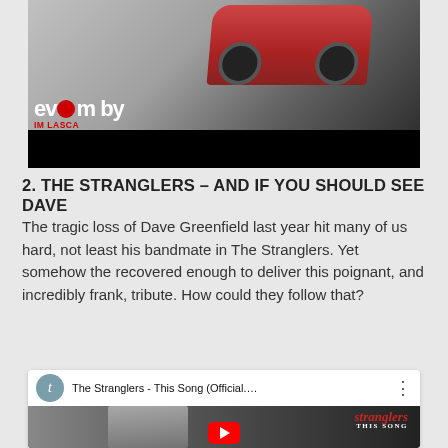[Figure (screenshot): Top portion of a YouTube/Vevo music video embed showing a red classic Mustang car on a road with 'evo' logo and 'IM BY IM LASCA' text overlay. Black bar at bottom.]
2. THE STRANGLERS – AND IF YOU SHOULD SEE DAVE
The tragic loss of Dave Greenfield last year hit many of us hard, not least his bandmate in The Stranglers. Yet somehow the recovered enough to deliver this poignant, and incredibly frank, tribute. How could they follow that?
[Figure (screenshot): YouTube video embed showing 'The Stranglers - This Song (Official...' with a grey avatar icon, the channel title, three-dot menu, and a black-and-white thumbnail of a man with The Stranglers logo in red and a YouTube play button at the bottom.]